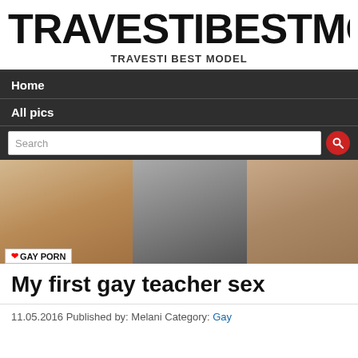TRAVESTIBESTMOD
TRAVESTI BEST MODEL
Home
All pics
[Figure (screenshot): Search bar with red circular search button]
[Figure (photo): Banner image with photos of men and text overlay reading I LOVE GAY PORN]
My first gay teacher sex
11.05.2016 Published by: Melani Category: Gay